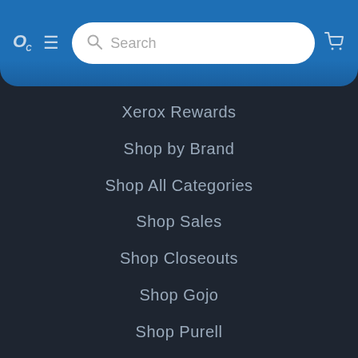[Figure (screenshot): Mobile app header with logo 'OC', hamburger menu icon, search bar with placeholder text 'Search', and shopping cart icon on a blue gradient background]
Xerox Rewards
Shop by Brand
Shop All Categories
Shop Sales
Shop Closeouts
Shop Gojo
Shop Purell